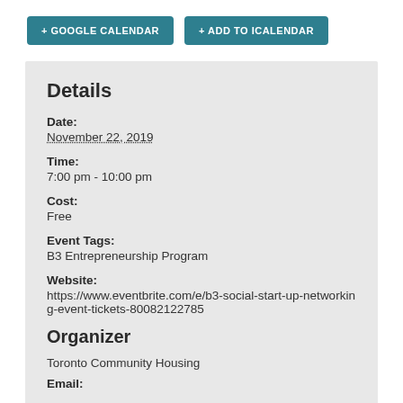+ GOOGLE CALENDAR
+ ADD TO ICALENDAR
Details
Date:
November 22, 2019
Time:
7:00 pm - 10:00 pm
Cost:
Free
Event Tags:
B3 Entrepreneurship Program
Website:
https://www.eventbrite.com/e/b3-social-start-up-networking-event-tickets-80082122785
Organizer
Toronto Community Housing
Email: